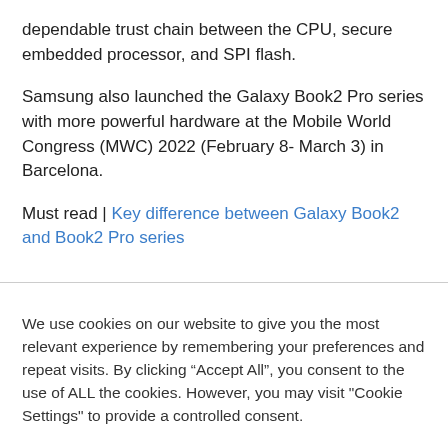dependable trust chain between the CPU, secure embedded processor, and SPI flash.
Samsung also launched the Galaxy Book2 Pro series with more powerful hardware at the Mobile World Congress (MWC) 2022 (February 8- March 3) in Barcelona.
Must read | Key difference between Galaxy Book2 and Book2 Pro series
We use cookies on our website to give you the most relevant experience by remembering your preferences and repeat visits. By clicking “Accept All”, you consent to the use of ALL the cookies. However, you may visit "Cookie Settings" to provide a controlled consent.